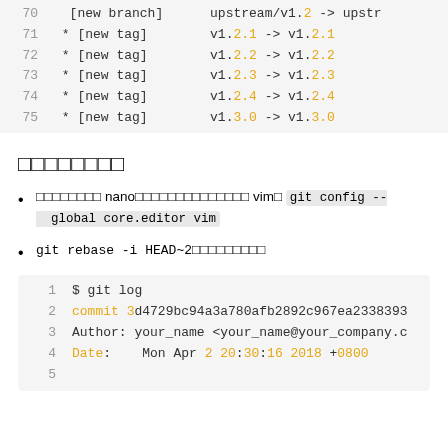[Figure (screenshot): Code block showing git fetch output lines 70-75 with line numbers, new tag entries, and version labels in orange]
□□□□□□□□
□□□□□□□□ nano□□□□□□□□□□□□□□ vim□ git config --global core.editor vim
git rebase -i HEAD~2□□□□□□□□□
[Figure (screenshot): Code block showing git log output: line 1: $ git log, line 2: commit 3d4729bc94a3a780afb2892c967ea2338393..., line 3: Author: your_name <your_name@your_company.c..., line 4: Date: Mon Apr 2 20:30:16 2018 +0800, line 5: (truncated)]